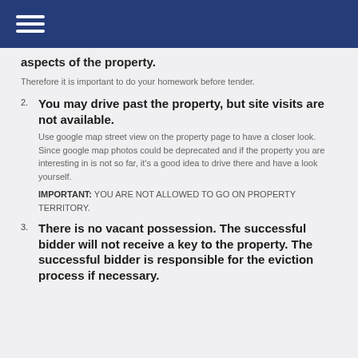aspects of the property.
Therefore it is important to do your homework before tender.
You may drive past the property, but site visits are not available.

Use google map street view on the property page to have a closer look. Since google map photos could be deprecated and if the property you are interesting in is not so far, it's a good idea to drive there and have a look yourself.

IMPORTANT: YOU ARE NOT ALLOWED TO GO ON PROPERTY TERRITORY.
There is no vacant possession. The successful bidder will not receive a key to the property. The successful bidder is responsible for the eviction process if necessary.